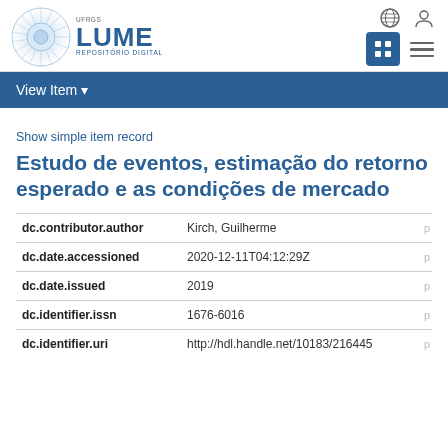[Figure (logo): LUME UFRGS Repositório Digital logo with circular graphic element]
View Item
Show simple item record
Estudo de eventos, estimação do retorno esperado e as condições de mercado
| Field | Value |  |
| --- | --- | --- |
| dc.contributor.author | Kirch, Guilherme | p |
| dc.date.accessioned | 2020-12-11T04:12:29Z | p |
| dc.date.issued | 2019 | p |
| dc.identifier.issn | 1676-6016 | p |
| dc.identifier.uri | http://hdl.handle.net/10183/216445 | p |